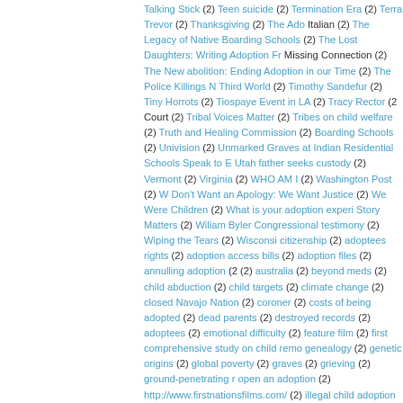Talking Stick (2) Teen suicide (2) Termination Era (2) Terra Trevor (2) Thanksgiving (2) The Ado Italian (2) The Legacy of Native Boarding Schools (2) The Lost Daughters: Writing Adoption Fr Missing Connection (2) The New abolition: Ending Adoption in our Time (2) The Police Killings N Third World (2) Timothy Sandefur (2) Tiny Horrots (2) Tiospaye Event in LA (2) Tracy Rector (2 Court (2) Tribal Voices Matter (2) Tribes on child welfare (2) Truth and Healing Commission (2) Boarding Schools (2) Univision (2) Unmarked Graves at Indian Residential Schools Speak to E Utah father seeks custody (2) Vermont (2) Virginia (2) WHO AM I (2) Washington Post (2) W Don't Want an Apology: We Want Justice (2) We Were Children (2) What is your adoption experi Story Matters (2) Wiliam Byler Congressional testimony (2) Wiping the Tears (2) Wisconsi citizenship (2) adoptees rights (2) adoption access bills (2) adoption files (2) annulling adoption (2 (2) australia (2) beyond meds (2) child abduction (2) child targets (2) climate change (2) closed Navajo Nation (2) coroner (2) costs of being adopted (2) dead parents (2) destroyed records (2) adoptees (2) emotional difficulty (2) feature film (2) first comprehensive study on child remo genealogy (2) genetic origins (2) global poverty (2) graves (2) grieving (2) ground-penetrating r open an adoption (2) http://www.firstnationsfilms.com/ (2) illegal child adoption (2) indigenou invisible (2) journalism (2) larry swartz (2) lawyers (2) legacy (2) letters of support (2) letters missing documents (2) museums (2) new anthology (2) new book (2) new guidelines (2) northe parenthood (2) past adoption practices (2) percentage of Indian Blood (2) rejection (2) removals reunification (2) scientilic racism (2) secrecy (2) social worker (2) states with open adoption recor pregnancy (2) transracial adoptees (2) tribal membership (2) trust responsibility (2) unseali #AdopteeVoices (1) #BABY A (1) #BABY KIRA (1) #EveryChildMatters (1) #Food Insecurity ( into submission (1) #TakeLand (1) #nationalhumantraffickingawarenessday (1) 'Pain (1) 'Read graves (1) 1500 Wars (1) 160 unmarked graves (1) 18 Schools (1) 200 unmarked graves (1) 2011 30 days (1) 54 Unmarked Graves (1) 7 Part Series: Indigenous Solutions for Child Welfare (1) documented in registry (1) 8th Fire (1) 93 unmarked graves (1) A Place Between (1) A Slow Ca AFCARS (1) ALMA (1) AMFOR (1) Aboriginal Health in the Aftermath of Genocide (1) Abo Adam Piron (1) Adopt Indian and Metis Program (1) AdoptFilm: The Right to Know (1) An